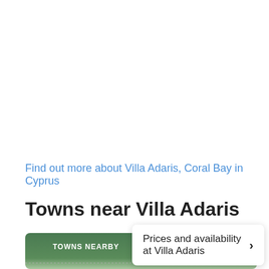Find out more about Villa Adaris, Coral Bay in Cyprus
Towns near Villa Adaris
[Figure (other): Green gradient header box with 'TOWNS NEARBY' label and dotted separator line]
Prices and availability at Villa Adaris ›